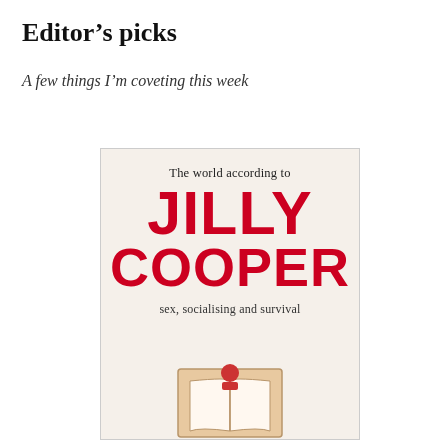Editor’s picks
A few things I’m coveting this week
[Figure (illustration): Book cover for 'The world according to Jilly Cooper: sex, socialising and survival'. Light beige background with large bold red text for 'JILLY COOPER' and smaller dark text for subtitle. Bottom shows an illustration of an open book with a figure.]